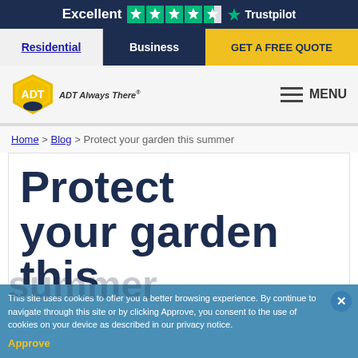Excellent ★★★★½ Trustpilot
Residential | Business | GET A FREE QUOTE
[Figure (logo): ADT Always There logo - yellow diamond shield with ADT text]
MENU
Home > Blog > Protect your garden this summer
Protect your garden this
This site uses cookies to offer you a better browsing experience. By continue to navigate through this site or by clicking Approve, you consent to the use of cookies on your device as described in our privacy notice.
Approve